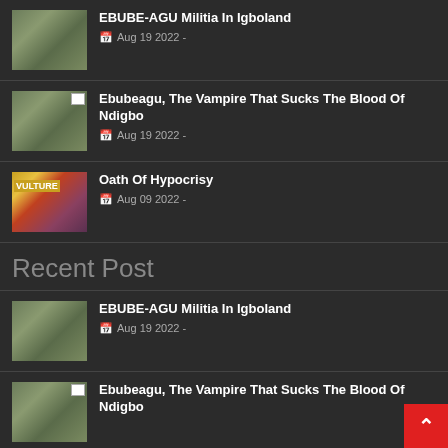EBUBE-AGU Militia In Igboland — Aug 19 2022
Ebubeagu, The Vampire That Sucks The Blood Of Ndigbo — Aug 19 2022
Oath Of Hypocrisy — Aug 09 2022
Recent Post
EBUBE-AGU Militia In Igboland — Aug 19 2022
Ebubeagu, The Vampire That Sucks The Blood Of Ndigbo